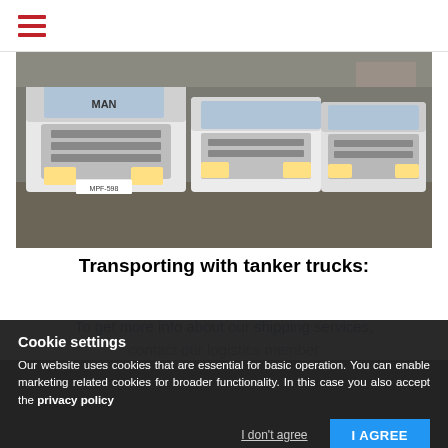☰ (hamburger menu icon)
[Figure (photo): Three white MAN tanker trucks parked in a yard/industrial area, viewed from the front.]
Transporting with tanker trucks:
To get more info about our shipping services, contact our logistics member
Cookie settings
Our website uses cookies that are essential for basic operation. You can enable marketing related cookies for broader functionality. In this case you also accept the privacy policy
I don't agree
I AGREE